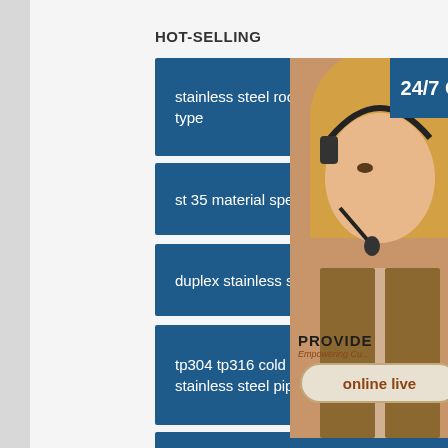HOT-SELLING
stainless steel roof plates hot s... type
st 35 material specification an...
duplex stainless steel pipes pri...
tp304 tp316 cold drawing seamless stainless steel pipe for
india steel coil ppgi prepainted iron
[Figure (photo): Customer service representative overlay with 24/7 badge, phone icon, Skype icon, headset icon, PROVIDE Empowering Cu... text, and online live button]